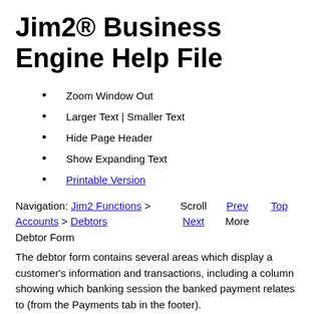Jim2® Business Engine Help File
Zoom Window Out
Larger Text | Smaller Text
Hide Page Header
Show Expanding Text
Printable Version
Navigation: Jim2 Functions > Accounts > Debtors Debtor Form
The debtor form contains several areas which display a customer's information and transactions, including a column showing which banking session the banked payment relates to (from the Payments tab in the footer).